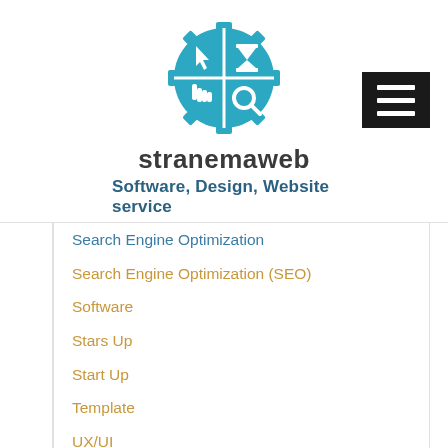[Figure (logo): Stranemaweb logo: a circular gear/puzzle icon divided into 4 quadrants with cursor, hourglass, hand pointer, and magnifying glass icons in teal/cyan color]
stranemaweb
Software, Design, Website service
Search Engine Optimization
Search Engine Optimization (SEO)
Software
Stars Up
Start Up
Template
UX/UI
VOIP
VPS